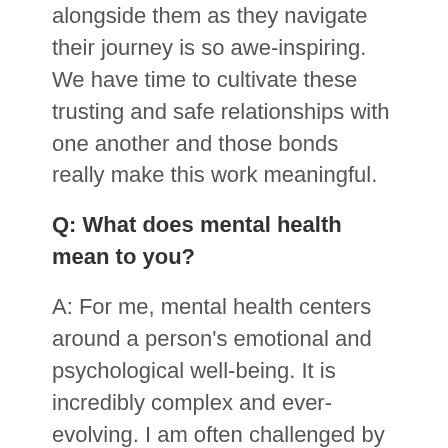alongside them as they navigate their journey is so awe-inspiring. We have time to cultivate these trusting and safe relationships with one another and those bonds really make this work meaningful.
Q: What does mental health mean to you?
A: For me, mental health centers around a person's emotional and psychological well-being. It is incredibly complex and ever-evolving. I am often challenged by the fact that no one technique works for everyone and figuring out how to tailor effective tools/strategies to each individual constantly keeps me learning and growing as well.